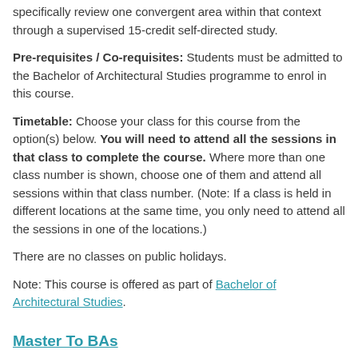specifically review one convergent area within that context through a supervised 15-credit self-directed study.
Pre-requisites / Co-requisites: Students must be admitted to the Bachelor of Architectural Studies programme to enrol in this course.
Timetable: Choose your class for this course from the option(s) below. You will need to attend all the sessions in that class to complete the course. Where more than one class number is shown, choose one of them and attend all sessions within that class number. (Note: If a class is held in different locations at the same time, you only need to attend all the sessions in one of the locations.)
There are no classes on public holidays.
Note: This course is offered as part of Bachelor of Architectural Studies.
Master To BAs